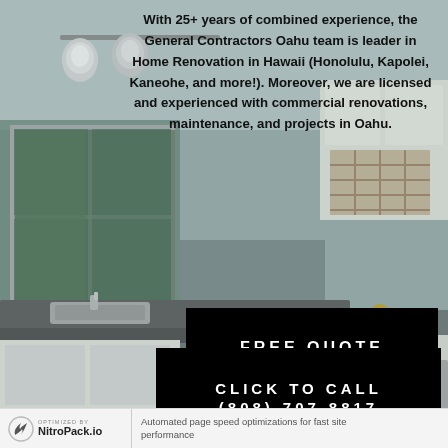[Figure (photo): Kitchen interior with white cabinets, dark granite countertops, stainless steel sink, large window, track lighting, and wine rack. Used as background image.]
With 25+ years of combined experience, the General Contractors Oahu team is leader in Home Renovation in Hawaii (Honolulu, Kapolei, Kaneohe, and more!). Moreover, we are licensed and experienced with commercial renovations, maintenance, and projects in Oahu.
FREE QUOTE
CLICK TO CALL
(808)-707-8817
OPTIMIZED BY NitroPack.io | Automated page speed optimizations for fast site performance